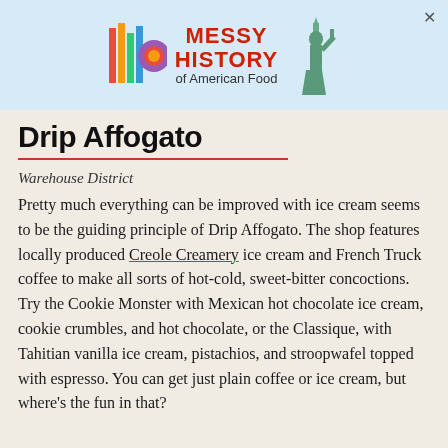[Figure (screenshot): Advertisement banner for 'Messy History of American Food' with colorful logo on left and Statue of Liberty graphic on right, light blue background]
Drip Affogato
Warehouse District
Pretty much everything can be improved with ice cream seems to be the guiding principle of Drip Affogato. The shop features locally produced Creole Creamery ice cream and French Truck coffee to make all sorts of hot-cold, sweet-bitter concoctions. Try the Cookie Monster with Mexican hot chocolate ice cream, cookie crumbles, and hot chocolate, or the Classique, with Tahitian vanilla ice cream, pistachios, and stroopwafel topped with espresso. You can get just plain coffee or ice cream, but where's the fun in that?